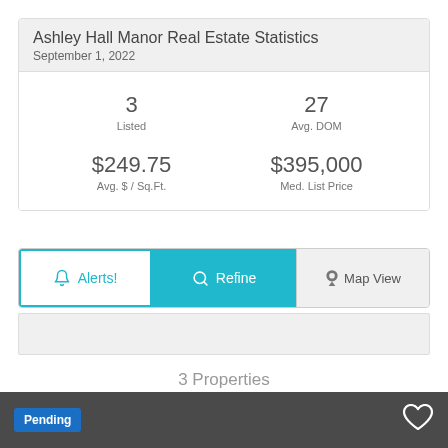Ashley Hall Manor Real Estate Statistics
September 1, 2022
|  |  |
| --- | --- |
| 3
Listed | 27
Avg. DOM |
| $249.75
Avg. $ / Sq.Ft. | $395,000
Med. List Price |
3 Properties
Pending